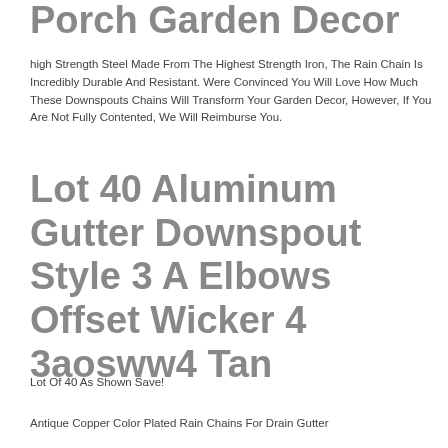Porch Garden Decor
high Strength Steel Made From The Highest Strength Iron, The Rain Chain Is Incredibly Durable And Resistant. Were Convinced You Will Love How Much These Downspouts Chains Will Transform Your Garden Decor, However, If You Are Not Fully Contented, We Will Reimburse You.
Lot 40 Aluminum Gutter Downspout Style 3 A Elbows Offset Wicker 4 3aosww4 Tan
Lot Of 40 As Shown Save!
Antique Copper Color Plated Rain Chains For Drain Gutter